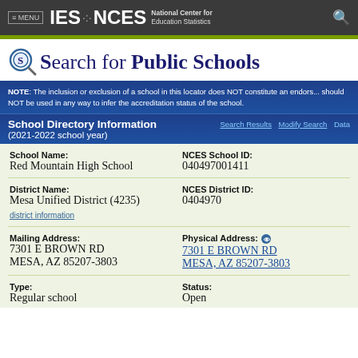≡ MENU  IES · NCES  National Center for Education Statistics
Search for Public Schools
NOTE: The inclusion or exclusion of a school in this locator does NOT constitute an endorsement and should NOT be used in any way to infer the accreditation status of the school.
School Directory Information (2021-2022 school year)
| Field | Value |
| --- | --- |
| School Name: | Red Mountain High School |
| NCES School ID: | 040497001411 |
| District Name: | Mesa Unified District (4235) |
| NCES District ID: | 0404970 |
| Mailing Address: | 7301 E BROWN RD
MESA, AZ 85207-3803 |
| Physical Address: | 7301 E BROWN RD
MESA, AZ 85207-3803 |
| Type: | Regular school |
| Status: | Open |